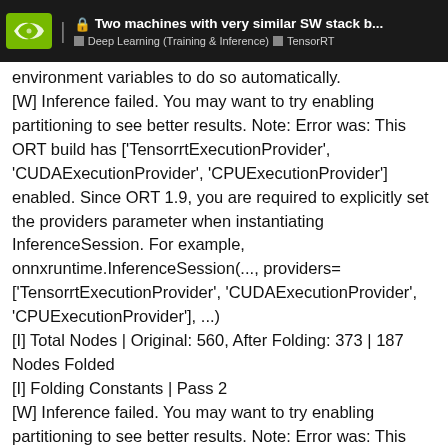Two machines with very similar SW stack b... | Deep Learning (Training & Inference) | TensorRT
environment variables to do so automatically.
[W] Inference failed. You may want to try enabling partitioning to see better results. Note: Error was: This ORT build has ['TensorrtExecutionProvider', 'CUDAExecutionProvider', 'CPUExecutionProvider'] enabled. Since ORT 1.9, you are required to explicitly set the providers parameter when instantiating InferenceSession. For example, onnxruntime.InferenceSession(..., providers=['TensorrtExecutionProvider', 'CUDAExecutionProvider', 'CPUExecutionProvider'], ...)
[I] Total Nodes | Original: 560, After Folding: 373 | 187 Nodes Folded
[I] Folding Constants | Pass 2
[W] Inference failed. You may want to try enabling partitioning to see better results. Note: Error was: This ORT build has ['TensorrtExecutionProvider', 'CUDAExecutionProvider', 'CPUExecutionProvider'],